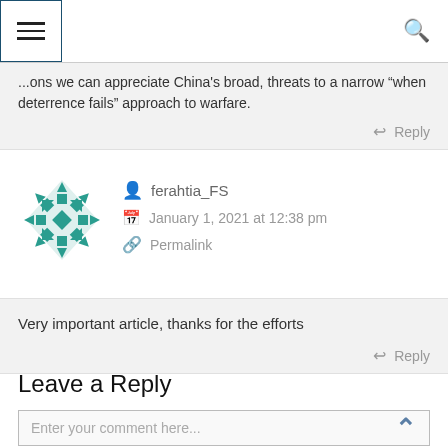Menu / Search
...ons we can appreciate China's broad, threats to a narrow “when deterrence fails” approach to warfare.
Reply
ferahtia_FS
January 1, 2021 at 12:38 pm
Permalink
Very important article, thanks for the efforts
Reply
Leave a Reply
Enter your comment here...